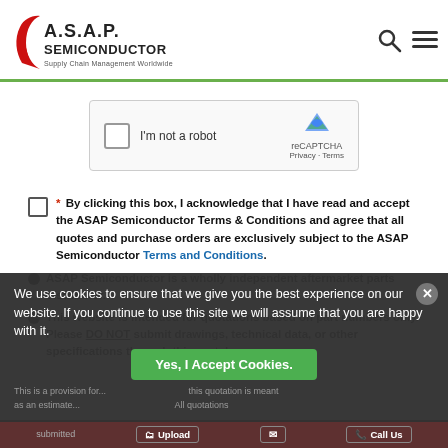A.S.A.P. SEMICONDUCTOR Supply Chain Management Worldwide
[Figure (screenshot): reCAPTCHA widget with checkbox and 'I'm not a robot' text]
* By clicking this box, I acknowledge that I have read and accept the ASAP Semiconductor Terms & Conditions and agree that all quotes and purchase orders are exclusively subject to the ASAP Semiconductor Terms and Conditions.
ASAP Semiconductor is a wholly independent aftermarket parts distributor.
This website is intended for quotations based on part numbers only. Please DO NOT submit drawings, technical data, or other specifications through this portal.
We use cookies to ensure that we give you the best experience on our website. If you continue to use this site we will assume that you are happy with it.
Yes, I Accept Cookies.
This is a provision for... this quotation is meant as an estimate... All quotations submitted...